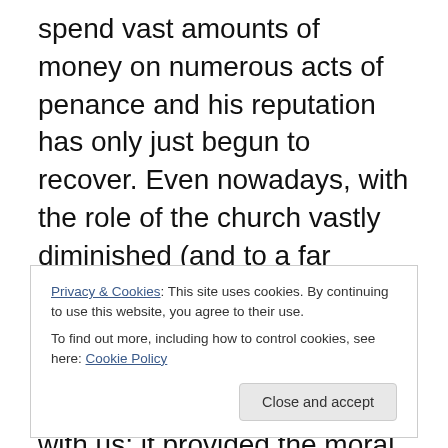spend vast amounts of money on numerous acts of penance and his reputation has only just begun to recover. Even nowadays, with the role of the church vastly diminished (and to a far lesser extent), this idea of the Christian faith as a political force and even a tool for violence is still very much with us; it provided the moral justification used by the KKK, for example. The story of the crusades is an ugly one, packed to the brim with zealotry, bigotry, hypocrisy and violence on a truly appalling scale; but they are a lot more than just ancient history. The legacy of the crusades will be rattling around our world for
Privacy & Cookies: This site uses cookies. By continuing to use this website, you agree to their use.
To find out more, including how to control cookies, see here: Cookie Policy
Close and accept